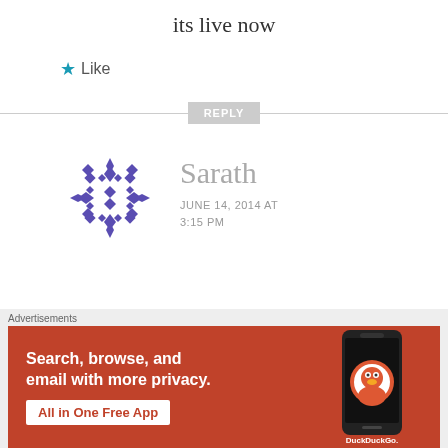its live now
★ Like
REPLY
[Figure (illustration): Purple geometric snowflake/mandala pattern avatar for user Sarath]
Sarath
JUNE 14, 2014 AT 3:15 PM
MK, any idea when it will be coming Next??
Advertisements
[Figure (screenshot): DuckDuckGo advertisement banner: Search, browse, and email with more privacy. All in One Free App. Shows phone with DuckDuckGo app.]